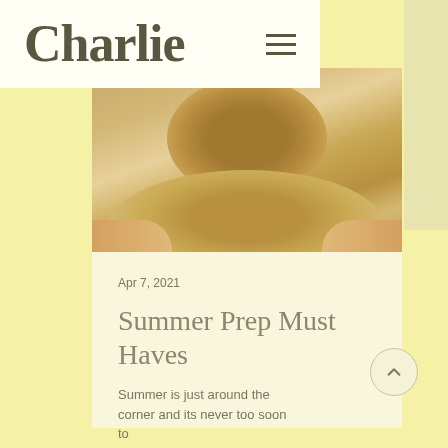Charlie
[Figure (photo): Person wearing a wide-brimmed straw hat viewed from above, with arms visible on either side, warm yellow-toned image]
Apr 7, 2021
Summer Prep Must Haves
Summer is just around the corner and its never too soon to ...